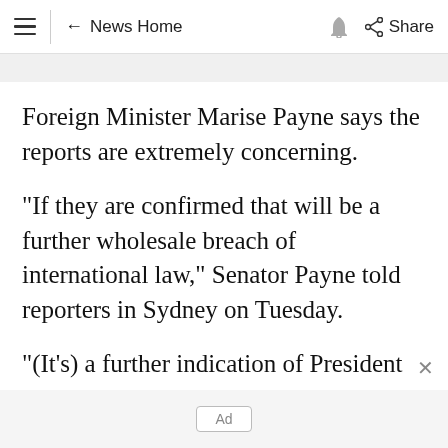≡ ← News Home 🔔 Share
Foreign Minister Marise Payne says the reports are extremely concerning.
"If they are confirmed that will be a further wholesale breach of international law," Senator Payne told reporters in Sydney on Tuesday.
"(It's) a further indication of President Putin
Ad